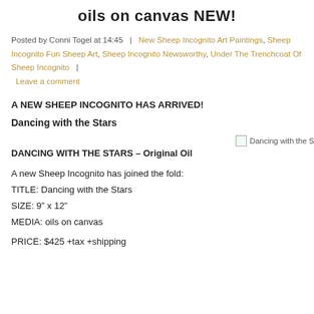oils on canvas NEW!
Posted by Conni Togel at 14:45  |  New Sheep Incognito Art Paintings, Sheep Incognito Fun Sheep Art, Sheep Incognito Newsworthy, Under The Trenchcoat Of Sheep Incognito  |  Leave a comment
A NEW SHEEP INCOGNITO HAS ARRIVED!
Dancing with the Stars
[Figure (photo): Thumbnail image placeholder for Dancing with the Stars painting]
DANCING WITH THE STARS – Original Oil
A new Sheep Incognito has joined the fold:
TITLE: Dancing with the Stars
SIZE: 9” x 12”
MEDIA: oils on canvas
PRICE: $425 +tax +shipping